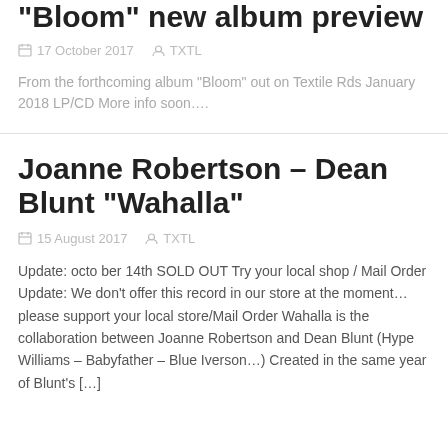“Bloom” new album preview
17 October 2017   TXTL
From the forthcoming album “Bloom” out on Textile Rds January 2018 LP/CD More info soon….
Joanne Robertson – Dean Blunt “Wahalla”
15 August 2017   TXTL
Update: octo ber 14th SOLD OUT Try your local shop / Mail Order Update: We don’t offer this record in our store at the moment… please support your local store/Mail Order Wahalla is the collaboration between Joanne Robertson and Dean Blunt (Hype Williams – Babyfather – Blue Iverson…) Created in the same year of Blunt’s […]